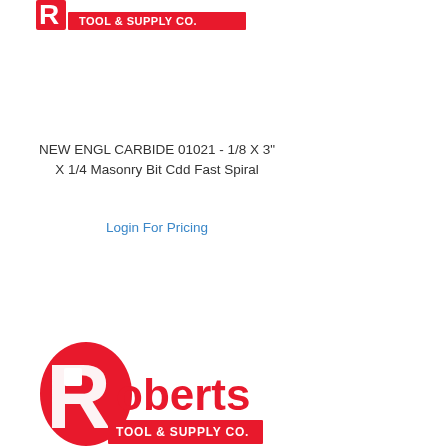Roberts Tool & Supply Co. (logo)
NEW ENGL CARBIDE 01021 - 1/8 X 3" X 1/4 Masonry Bit Cdd Fast Spiral
Login For Pricing
[Figure (logo): Roberts Tool & Supply Co. logo — large red R with 'Roberts' text and 'TOOL & SUPPLY CO.' banner in red on white background]